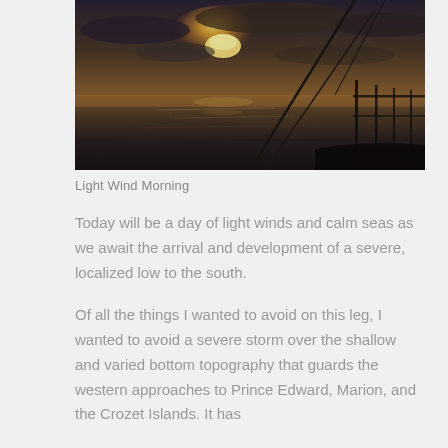[Figure (photo): Photograph taken from the deck of a sailing vessel at sea during sunrise or sunset. The horizon shows a golden sun partially obscured by clouds over a calm but slightly rippled ocean. The silhouette of the boat's rigging and railing are visible on the right side. The overall tone is dark and moody with warm golden light reflecting on the water.]
Light Wind Morning
Today will be a day of light winds and calm seas as we await the arrival and development of a severe, localized low to the south.
Of all the things I wanted to avoid on this leg, I wanted to avoid a severe storm over the shallow and varied bottom topography that guards the western approaches to Prince Edward, Marion, and the Crozet Islands. It has